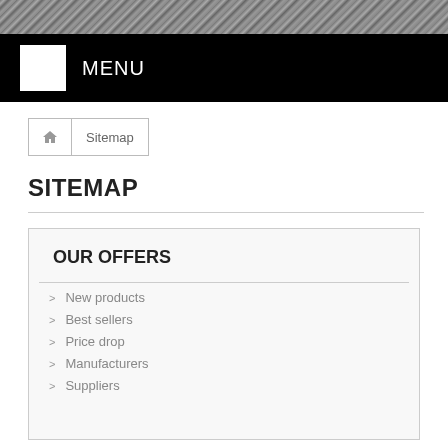[Figure (photo): Aerial/rocky texture photo used as page header background]
MENU
Sitemap
SITEMAP
OUR OFFERS
New products
Best sellers
Price drop
Manufacturers
Suppliers